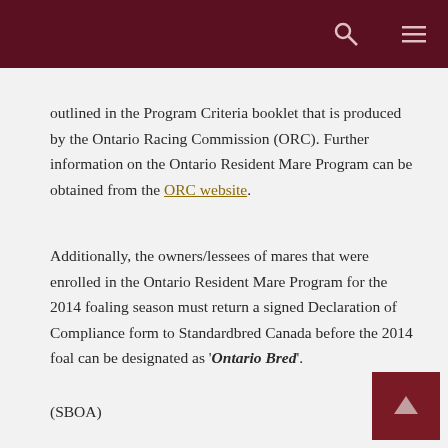[Header bar with search and menu icons]
outlined in the Program Criteria booklet that is produced by the Ontario Racing Commission (ORC). Further information on the Ontario Resident Mare Program can be obtained from the ORC website.
Additionally, the owners/lessees of mares that were enrolled in the Ontario Resident Mare Program for the 2014 foaling season must return a signed Declaration of Compliance form to Standardbred Canada before the 2014 foal can be designated as 'Ontario Bred'.
(SBOA)